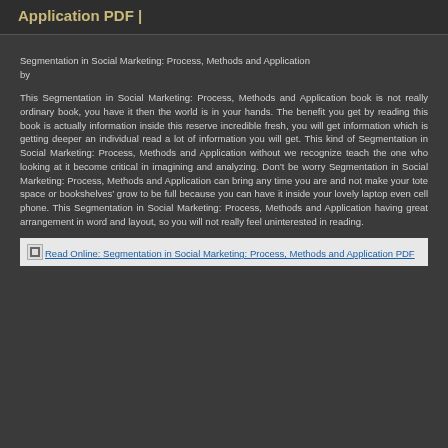Application PDF |
Segmentation in Social Marketing: Process, Methods and Application by
This Segmentation in Social Marketing: Process, Methods and Application book is not really ordinary book, you have it then the world is in your hands. The benefit you get by reading this book is actually information inside this reserve incredible fresh, you will get information which is getting deeper an individual read a lot of information you will get. This kind of Segmentation in Social Marketing: Process, Methods and Application without we recognize teach the one who looking at it become critical in imagining and analyzing. Don't be worry Segmentation in Social Marketing: Process, Methods and Application can bring any time you are and not make your tote space or bookshelves' grow to be full because you can have it inside your lovely laptop even cell phone. This Segmentation in Social Marketing: Process, Methods and Application having great arrangement in word and layout, so you will not really feel uninterested in reading.
Read Online: Segmentation in Social Marketing: Process, Methods and Application PDF